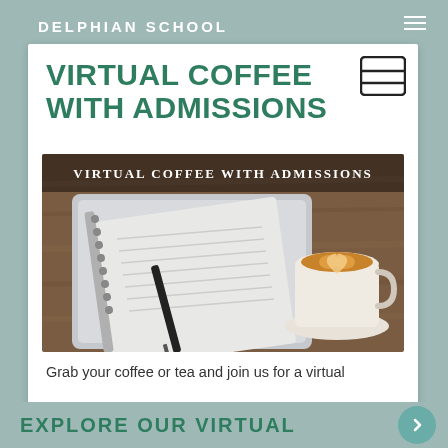DELPHIAN SCHOOL
VIRTUAL COFFEE WITH ADMISSIONS
[Figure (photo): Overhead view of a laptop with a spiral notebook and pen on a wooden table, beside a white cup of latte art coffee on a saucer. Text overlay reads VIRTUAL COFFEE WITH ADMISSIONS.]
Grab your coffee or tea and join us for a virtual
EXPLORE OUR VIRTUAL